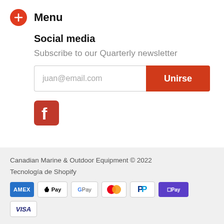Menu
Social media
Subscribe to our Quarterly newsletter
[Figure (other): Email input field with placeholder 'juan@email.com' and 'Unirse' button]
[Figure (logo): Facebook icon - red square with white F logo]
Canadian Marine & Outdoor Equipment © 2022
Tecnología de Shopify
[Figure (other): Payment method icons: AMEX, Apple Pay, Google Pay, Mastercard, PayPal, Shop Pay, Visa]